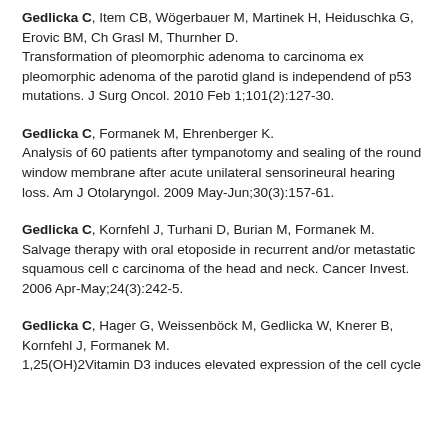Gedlicka C, Item CB, Wögerbauer M, Martinek H, Heiduschka G, Erovic BM, Ch Grasl M, Thurnher D. Transformation of pleomorphic adenoma to carcinoma ex pleomorphic adenoma of the parotid gland is independend of p53 mutations. J Surg Oncol. 2010 Feb 1;101(2):127-30.
Gedlicka C, Formanek M, Ehrenberger K. Analysis of 60 patients after tympanotomy and sealing of the round window membrane after acute unilateral sensorineural hearing loss. Am J Otolaryngol. 2009 May-Jun;30(3):157-61.
Gedlicka C, Kornfehl J, Turhani D, Burian M, Formanek M. Salvage therapy with oral etoposide in recurrent and/or metastatic squamous cell c carcinoma of the head and neck. Cancer Invest. 2006 Apr-May;24(3):242-5.
Gedlicka C, Hager G, Weissenböck M, Gedlicka W, Knerer B, Kornfehl J, Formanek M. 1,25(OH)2Vitamin D3 induces elevated expression of the cell cycle